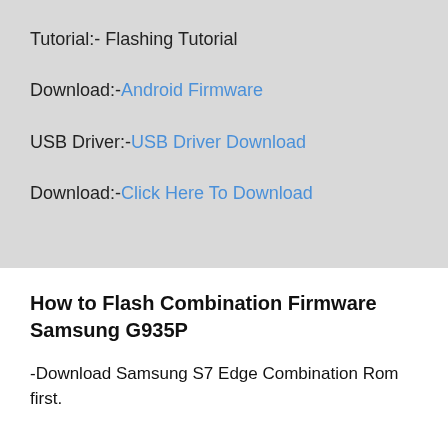Tutorial:- Flashing Tutorial
Download:-Android Firmware
USB Driver:-USB Driver Download
Download:-Click Here To Download
How to Flash Combination Firmware Samsung G935P
-Download Samsung S7 Edge Combination Rom first.